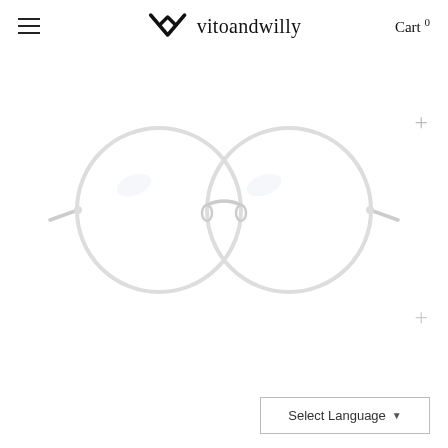vitoandwilly — Cart 0
[Figure (photo): Round wireframe eyeglasses with thin silver/white metal frames, displayed on a white background. The glasses have circular lenses and thin metal temples.]
Select Language ▼